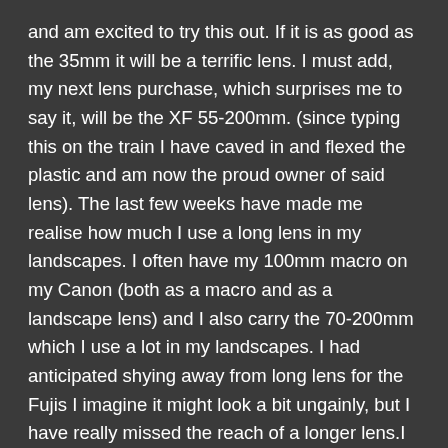and am excited to try this out. If it is as good as the 35mm it will be a terrific lens. I must add, my next lens purchase, which surprises me to say it, will be the XF 55-200mm. (since typing this on the train I have caved in and flexed the plastic and am now the proud owner of said lens). The last few weeks have made me realise how much I use a long lens in my landscapes. I often have my 100mm macro on my Canon (both as a macro and as a landscape lens) and I also carry the 70-200mm which I use a lot in my landscapes. I had anticipated shying away from long lens for the Fujis I imagine it might look a bit ungainly, but I have really missed the reach of a longer lens.I have also bought the 60mm macro, partly because (great excuse) my wife now has the XE-2 and she loves macro photography, but of course, we can share 🙂
I am travelling to Norway in two weeks to co-lead an aurora workshop with Antony Spencer for Light and Land. I will be taking my 5D kit, but the Fuji is coming with me too. This will